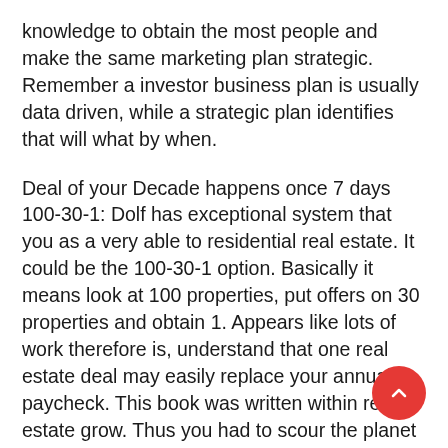knowledge to obtain the most people and make the same marketing plan strategic. Remember a investor business plan is usually data driven, while a strategic plan identifies that will what by when.
Deal of your Decade happens once 7 days 100-30-1: Dolf has exceptional system that you as a very able to residential real estate. It could be the 100-30-1 option. Basically it means look at 100 properties, put offers on 30 properties and obtain 1. Appears like lots of work therefore is, understand that one real estate deal may easily replace your annual paycheck. This book was written within real estate grow. Thus you had to scour the planet for great deals. Today there are a great good deals and should you use this diligent method you must be a hit.